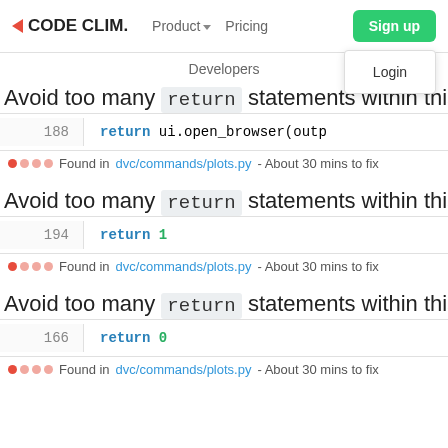CODE CLIM. | Product | Pricing | Sign up | Login | Developers
Avoid too many return statements within this functi
188   return ui.open_browser(outp
Found in dvc/commands/plots.py - About 30 mins to fix
Avoid too many return statements within this functi
194   return 1
Found in dvc/commands/plots.py - About 30 mins to fix
Avoid too many return statements within this functi
166   return 0
Found in dvc/commands/plots.py - About 30 mins to fix